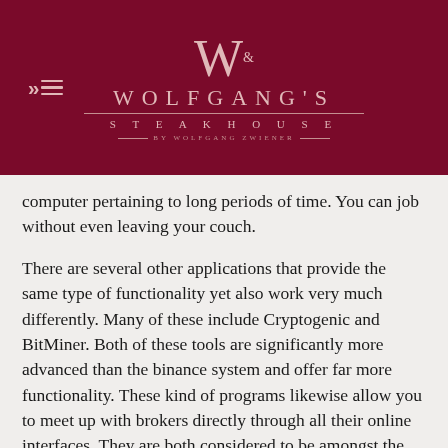[Figure (logo): Wolfgang's Steakhouse logo: large decorative W with ampersand, WOLFGANG'S in spaced caps, horizontal rules, STEAKHOUSE in spaced caps, BY WOLFGANG ZWIENER tagline. White/pink text on dark crimson background. Hamburger menu icon (arrow + lines) at upper left.]
computer pertaining to long periods of time. You can job without even leaving your couch.
There are several other applications that provide the same type of functionality yet also work very much differently. Many of these include Cryptogenic and BitMiner. Both of these tools are significantly more advanced than the binance system and offer far more functionality. These kind of programs likewise allow you to meet up with brokers directly through all their online interfaces. They are both considered to be amongst the best with the available apps, hence if you're buying way to make your trades quicker and less difficult, then one for these two may be what you would like.
One of the more challenging and highly effective aspects